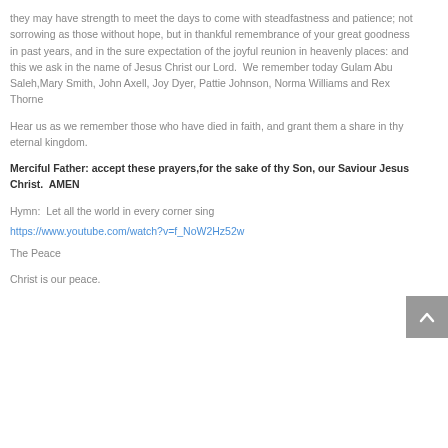they may have strength to meet the days to come with steadfastness and patience; not sorrowing as those without hope, but in thankful remembrance of your great goodness in past years, and in the sure expectation of the joyful reunion in heavenly places: and this we ask in the name of Jesus Christ our Lord.  We remember today Gulam Abu Saleh,Mary Smith, John Axell, Joy Dyer, Pattie Johnson, Norma Williams and Rex Thorne
Hear us as we remember those who have died in faith, and grant them a share in thy eternal kingdom.
Merciful Father: accept these prayers,for the sake of thy Son, our Saviour Jesus Christ.  AMEN
Hymn:  Let all the world in every corner sing
https://www.youtube.com/watch?v=f_NoW2Hz52w
The Peace
Christ is our peace.